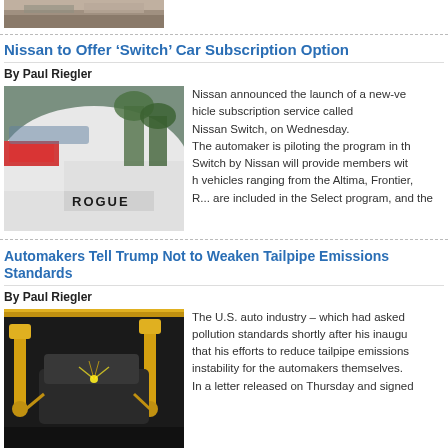[Figure (photo): Partial top image of a vehicle or road scene, cropped at top of page]
Nissan to Offer ‘Switch’ Car Subscription Option
By Paul Riegler
[Figure (photo): Close-up photo of a white Nissan Rogue rear badge and tail light]
Nissan announced the launch of a new-ve... Nissan Switch, on Wednesday. The automaker is piloting the program in th... Switch by Nissan will provide members with... vehicles ranging from the Altima, Frontier, R... are included in the Select program, and the...
Automakers Tell Trump Not to Weaken Tailpipe Emissions Standards
By Paul Riegler
[Figure (photo): Photo of auto assembly line with yellow robotic arms working on vehicle bodies]
The U.S. auto industry – which had asked... pollution standards shortly after his inaugu... that his efforts to reduce tailpipe emissions... instability for the automakers themselves. In a letter released on Thursday and signed...